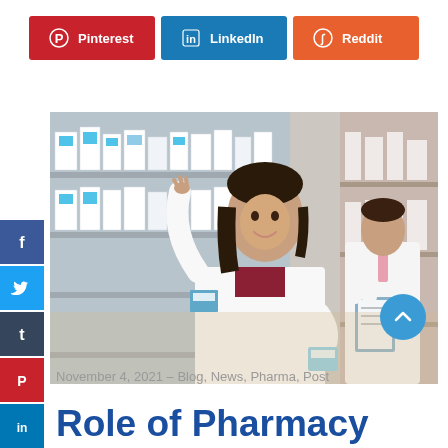[Figure (infographic): Top social share buttons: Pinterest (red), LinkedIn (blue), Reddit (orange)]
[Figure (photo): Two pharmacists in white lab coats in a pharmacy, woman in foreground holding a medicine box and pointing at shelf, man in background with clipboard]
[Figure (infographic): Left side vertical social media icons: Facebook (blue), Twitter (light blue), Tumblr (dark), Pinterest (red), LinkedIn (blue), Reddit (orange)]
November 4, 2021 – Blog, News, Pharma, Post
Role of Pharmacy